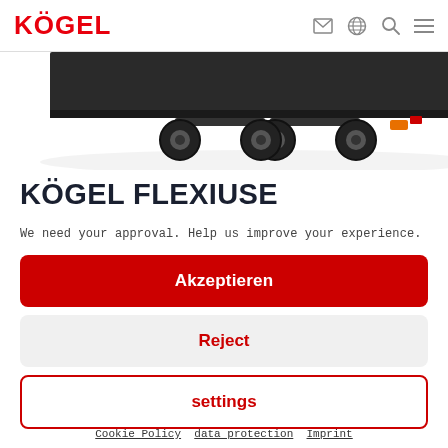KÖGEL (logo) — nav icons: email, globe, search, menu
[Figure (photo): Partial view of a Kögel flatbed trailer axle and rear section, photographed from below/side, on white background.]
KÖGEL FLEXIUSE
We need your approval. Help us improve your experience.
Akzeptieren
Reject
settings
Cookie Policy   data protection   Imprint